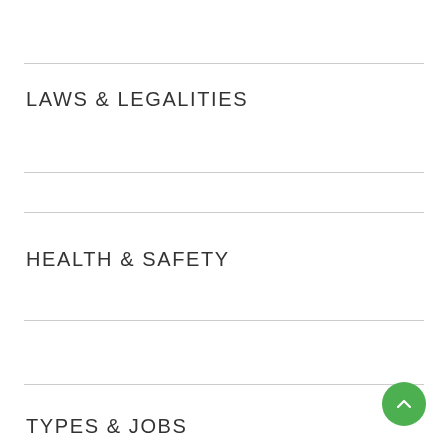LAWS & LEGALITIES
HEALTH & SAFETY
TYPES & JOBS